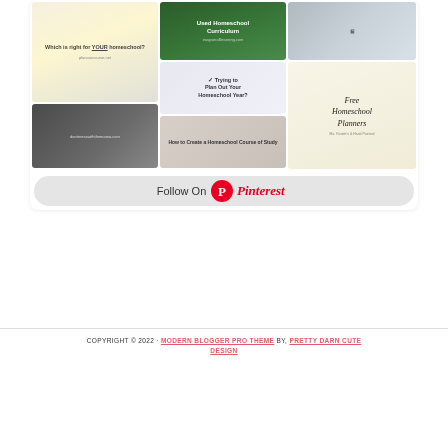[Figure (screenshot): Pinterest board widget showing a grid of homeschool-related pins including curriculum comparisons, used homeschool curriculum, planning guides, free homeschool planners, and course of study resources, with a 'Follow On Pinterest' button at the bottom.]
COPYRIGHT © 2022 · MODERN BLOGGER PRO THEME BY, PRETTY DARN CUTE DESIGN